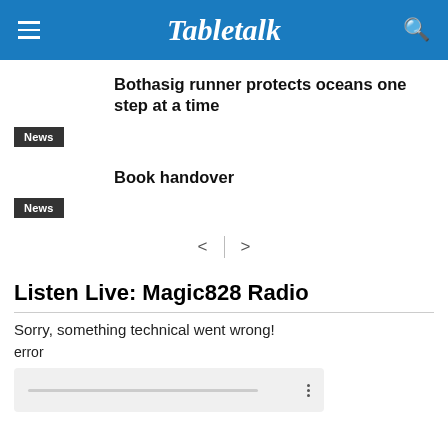Tabletalk
Bothasig runner protects oceans one step at a time
News
Book handover
News
Listen Live: Magic828 Radio
Sorry, something technical went wrong!
error